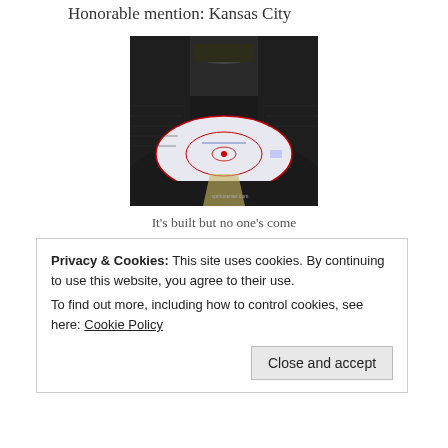Honorable mention: Kansas City
[Figure (photo): Interior photo of an empty NHL-style ice hockey arena (Sprint Center, Kansas City) showing the ice rink from an elevated angle, with rows of black seats and arena lighting. Watermark: sprintcenter.com]
It's built but no one's come
Privacy & Cookies: This site uses cookies. By continuing to use this website, you agree to their use.
To find out more, including how to control cookies, see here: Cookie Policy
Close and accept